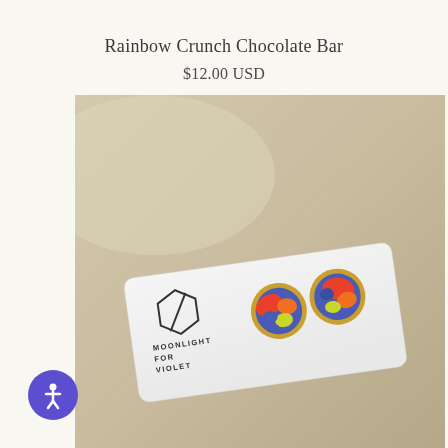Rainbow Crunch Chocolate Bar
$12.00 USD
[Figure (photo): Product photo of two round stud earrings with colorful resin (blue, red, orange, yellow-green) in gold-tone settings, displayed on a white earring card with the Moonlight for Violet logo (hexagon outline with slash) and brand name text 'MOONLIGHT FOR VIOLET'. The card is photographed on a light beige surface at a slight angle.]